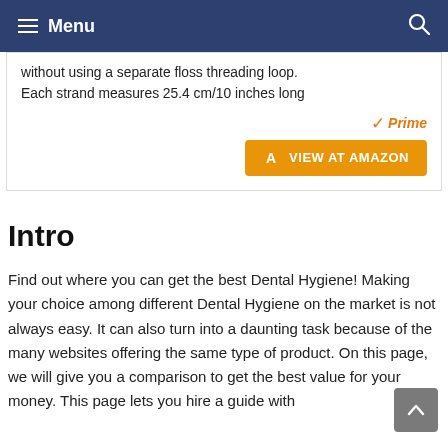Menu
without using a separate floss threading loop. Each strand measures 25.4 cm/10 inches long
[Figure (logo): Amazon Prime badge and VIEW AT AMAZON orange button]
Intro
Find out where you can get the best Dental Hygiene! Making your choice among different Dental Hygiene on the market is not always easy. It can also turn into a daunting task because of the many websites offering the same type of product. On this page, we will give you a comparison to get the best value for your money. This page lets you hire a guide with...